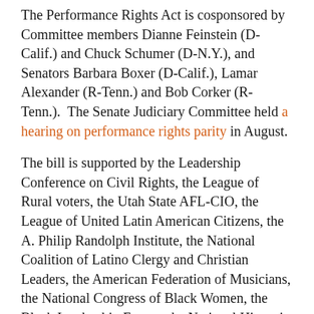The Performance Rights Act is cosponsored by Committee members Dianne Feinstein (D-Calif.) and Chuck Schumer (D-N.Y.), and Senators Barbara Boxer (D-Calif.), Lamar Alexander (R-Tenn.) and Bob Corker (R-Tenn.).  The Senate Judiciary Committee held a hearing on performance rights parity in August.
The bill is supported by the Leadership Conference on Civil Rights, the League of Rural voters, the Utah State AFL-CIO, the League of United Latin American Citizens, the A. Philip Randolph Institute, the National Coalition of Latino Clergy and Christian Leaders, the American Federation of Musicians, the National Congress of Black Women, the Black Leadership Forum, the National Hispanic Media Coalition, the Labor Council for Latin American Advancement, and the Vermont State Labor Council, as well as artists and record labels.